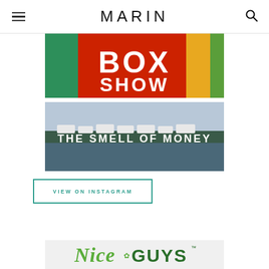MARIN
[Figure (photo): Colorful sign showing BOX SHOW text with red, green, and yellow colors, partial view]
[Figure (photo): Aerial view of farm buildings at dusk with text overlay reading THE SMELL OF MONEY]
VIEW ON INSTAGRAM
[Figure (logo): Nice GUYS logo with cannabis leaf icon, green lettering]